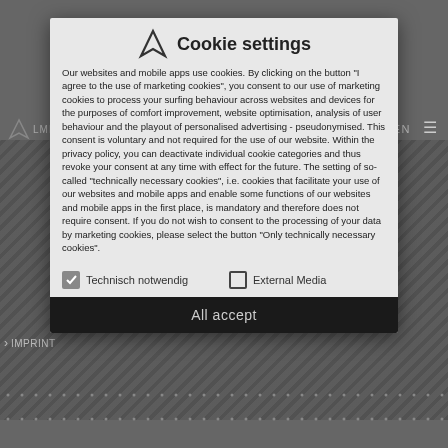[Figure (screenshot): LMP Partners website background partially visible behind cookie consent modal. Shows logo, navigation DE/EN, hamburger menu, and diagonal striped image area.]
Cookie settings
Our websites and mobile apps use cookies. By clicking on the button "I agree to the use of marketing cookies", you consent to our use of marketing cookies to process your surfing behaviour across websites and devices for the purposes of comfort improvement, website optimisation, analysis of user behaviour and the playout of personalised advertising - pseudonymised. This consent is voluntary and not required for the use of our website. Within the privacy policy, you can deactivate individual cookie categories and thus revoke your consent at any time with effect for the future. The setting of so-called "technically necessary cookies", i.e. cookies that facilitate your use of our websites and mobile apps and enable some functions of our websites and mobile apps in the first place, is mandatory and therefore does not require consent. If you do not wish to consent to the processing of your data by marketing cookies, please select the button "Only technically necessary cookies".
Technisch notwendig
External Media
All accept